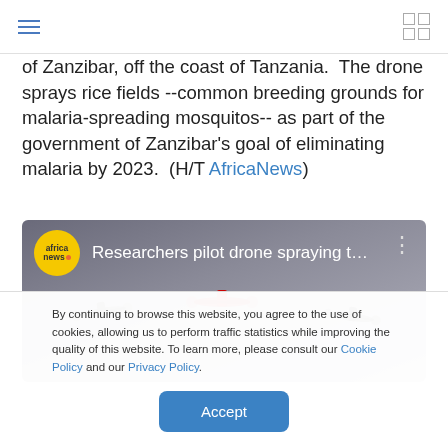navigation header with hamburger menu and grid icon
of Zanzibar, off the coast of Tanzania. The drone sprays rice fields --common breeding grounds for malaria-spreading mosquitos-- as part of the government of Zanzibar's goal of eliminating malaria by 2023. (H/T AfricaNews)
[Figure (screenshot): Africa News video thumbnail showing 'Researchers pilot drone spraying t...' with Africa News logo and drone image]
By continuing to browse this website, you agree to the use of cookies, allowing us to perform traffic statistics while improving the quality of this website. To learn more, please consult our Cookie Policy and our Privacy Policy.
Accept